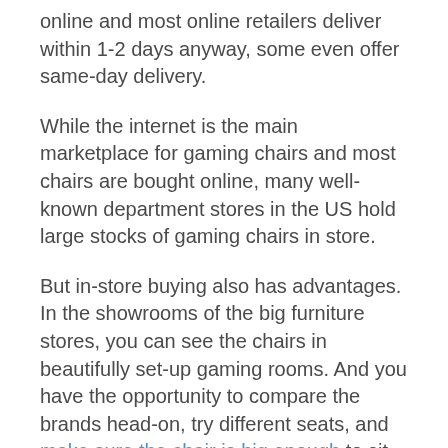online and most online retailers deliver within 1-2 days anyway, some even offer same-day delivery.
While the internet is the main marketplace for gaming chairs and most chairs are bought online, many well-known department stores in the US hold large stocks of gaming chairs in store.
But in-store buying also has advantages. In the showrooms of the big furniture stores, you can see the chairs in beautifully set-up gaming rooms. And you have the opportunity to compare the brands head-on, try different seats, and make sure the chair is big enough to sit comfortably in.